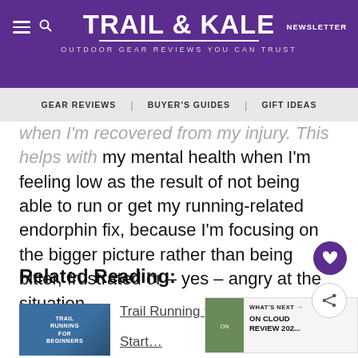TRAIL & KALE — OUTDOOR GEAR REVIEWS YOU CAN TRUST
GEAR REVIEWS | BUYER'S GUIDES | GIFT IDEAS
when I'm recovered from my injury. This helps with my mental health when I'm feeling low as the result of not being able to run or get my running-related endorphin fix, because I'm focusing on the bigger picture rather than being bitter, frustrated or – yes – angry at the situation.
Related Reading:
Trail Running for Beginners
Start…